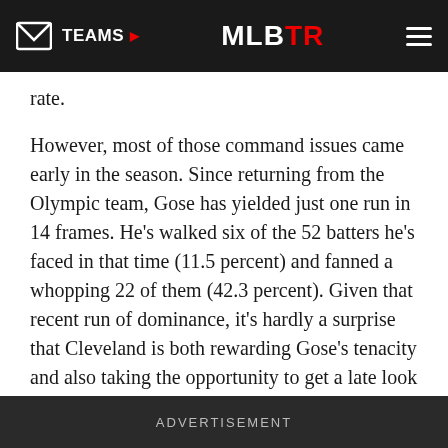TEAMS ▶  MLBTR
rate.
However, most of those command issues came early in the season. Since returning from the Olympic team, Gose has yielded just one run in 14 frames. He's walked six of the 52 batters he's faced in that time (11.5 percent) and fanned a whopping 22 of them (42.3 percent). Given that recent run of dominance, it's hardly a surprise that Cleveland is both rewarding Gose's tenacity and also taking the opportunity to get a late look at him in the big leagues.
While Gose has appeared in parts of five big league seasons in the past, he has yet to even amass three years of Major League service time. As such, Cleveland would be able to control him all
ADVERTISEMENT